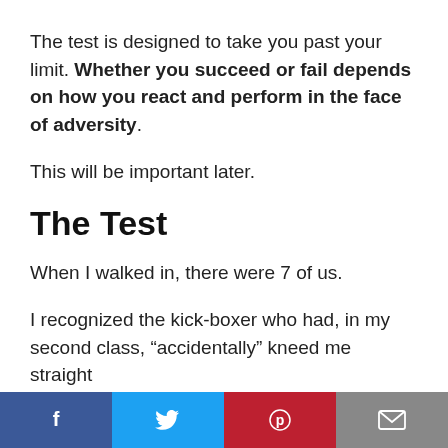The test is designed to take you past your limit. Whether you succeed or fail depends on how you react and perform in the face of adversity.
This will be important later.
The Test
When I walked in, there were 7 of us.
I recognized the kick-boxer who had, in my second class, “accidentally” kneed me straight
Social share bar: Facebook, Twitter, Pinterest, Email